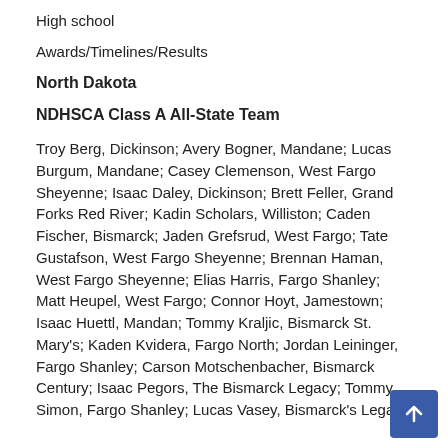High school
Awards/Timelines/Results
North Dakota
NDHSCA Class A All-State Team
Troy Berg, Dickinson; Avery Bogner, Mandane; Lucas Burgum, Mandane; Casey Clemenson, West Fargo Sheyenne; Isaac Daley, Dickinson; Brett Feller, Grand Forks Red River; Kadin Scholars, Williston; Caden Fischer, Bismarck; Jaden Grefsrud, West Fargo; Tate Gustafson, West Fargo Sheyenne; Brennan Haman, West Fargo Sheyenne; Elias Harris, Fargo Shanley; Matt Heupel, West Fargo; Connor Hoyt, Jamestown; Isaac Huettl, Mandan; Tommy Kraljic, Bismarck St. Mary's; Kaden Kvidera, Fargo North; Jordan Leininger, Fargo Shanley; Carson Motschenbacher, Bismarck Century; Isaac Pegors, The Bismarck Legacy; Tommy Simon, Fargo Shanley; Lucas Vasey, Bismarck's Legacy